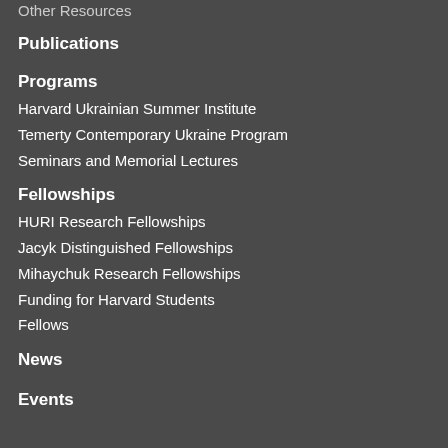Other Resources
Publications
Programs
Harvard Ukrainian Summer Institute
Temerty Contemporary Ukraine Program
Seminars and Memorial Lectures
Fellowships
HURI Research Fellowships
Jacyk Distinguished Fellowships
Mihaychuk Research Fellowships
Funding for Harvard Students
Fellows
News
Events